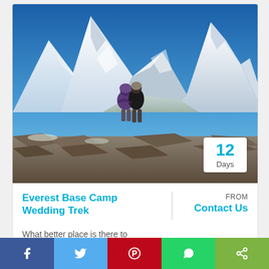[Figure (photo): Two people standing on rocky terrain at Everest Base Camp with snowy Himalayan peaks (including Nuptse and Everest) in the background under a blue sky. A white badge in the lower right corner reads '12 Days'.]
Everest Base Camp Wedding Trek
FROM Contact Us
What better place is there to celebrate the most important...
VIEW THIS TRIP →
[Figure (infographic): Social media share bar with Facebook (blue), Twitter (light blue), Pinterest (red), WhatsApp (green), and Share (lime green) icons.]